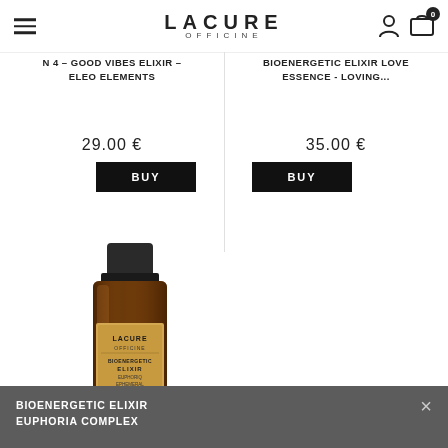LACURE OFFICINE
N 4 - GOOD VIBES ELIXIR - ELEO ELEMENTS
BIOENERGETIC ELIXIR LOVE ESSENCE - LOVING...
29.00 €
BUY
35.00 €
BUY
[Figure (photo): Small amber glass bottle with black cap labeled LACURE OFFICINE BIOENERGETIC ELIXIR]
BIOENERGETIC ELIXIR EUPHORIA COMPLEX